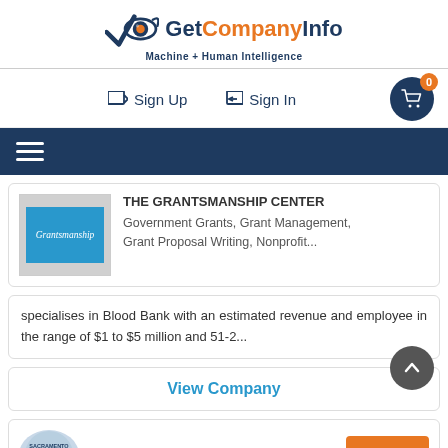[Figure (logo): GetCompanyInfo logo with eye/checkmark icon and tagline Machine + Human Intelligence]
Sign Up   Sign In
[Figure (illustration): Navigation menu bar with hamburger icon on dark navy background]
THE GRANTSMANSHIP CENTER
Government Grants, Grant Management, Grant Proposal Writing, Nonprofit...
specialises in Blood Bank with an estimated revenue and employee in the range of $1 to $5 million and 51-2...
View Company
[Figure (logo): Sacramento Food Bank circular logo, partially visible]